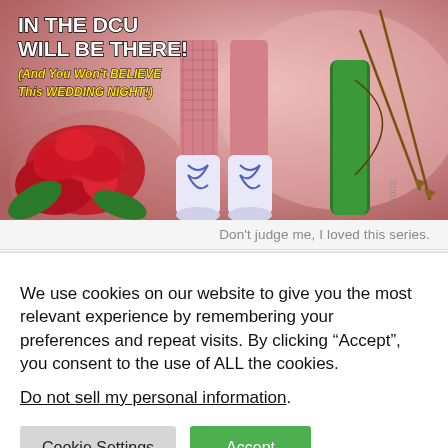[Figure (illustration): Comic book cover illustration showing fishnet-stocking legs and boots of a superhero character, roses, arrows, and a bow. Text overlay reads 'IN THE DCU WILL BE THERE!' and '(And You Won't BELIEVE This WEDDING NIGHT!)' in comic book style lettering.]
Don't judge me, I loved this series.
We use cookies on our website to give you the most relevant experience by remembering your preferences and repeat visits. By clicking “Accept”, you consent to the use of ALL the cookies.
Do not sell my personal information.
Cookie Settings
Accept